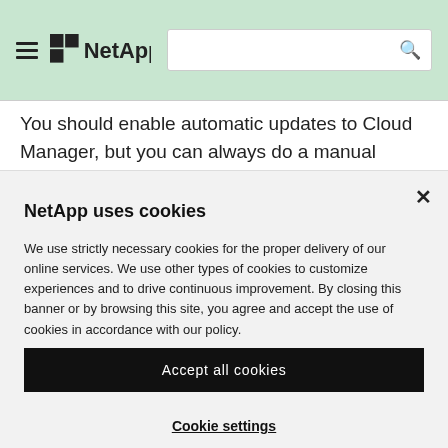NetApp [logo] [search bar]
You should enable automatic updates to Cloud Manager, but you can always do a manual update directly from the web
NetApp uses cookies

We use strictly necessary cookies for the proper delivery of our online services. We use other types of cookies to customize experiences and to drive continuous improvement. By closing this banner or by browsing this site, you agree and accept the use of cookies in accordance with our policy.

Accept all cookies

Cookie settings